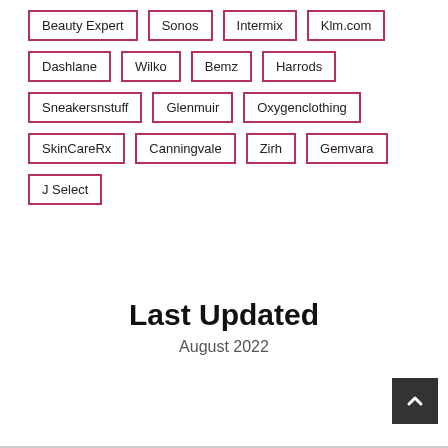Beauty Expert
Sonos
Intermix
Klm.com
Dashlane
Wilko
Bemz
Harrods
Sneakersnstuff
Glenmuir
Oxygenclothing
SkinCareRx
Canningvale
Zirh
Gemvara
J Select
Last Updated
August 2022